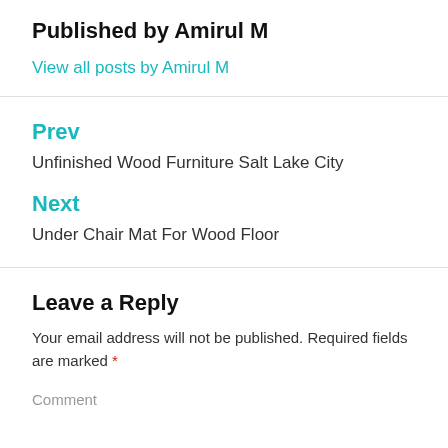Published by Amirul M
View all posts by Amirul M
Prev
Unfinished Wood Furniture Salt Lake City
Next
Under Chair Mat For Wood Floor
Leave a Reply
Your email address will not be published. Required fields are marked *
Comment